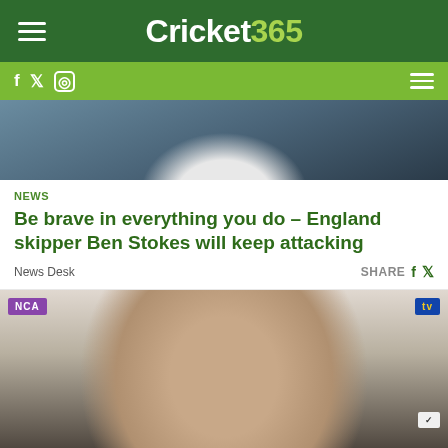Cricket365
[Figure (photo): Partial photo of a cricketer in white England kit at the top of the page]
NEWS
Be brave in everything you do – England skipper Ben Stokes will keep attacking
News Desk   SHARE
[Figure (photo): Close-up photo of Ben Stokes smiling at a press conference with sponsor logos visible in background]